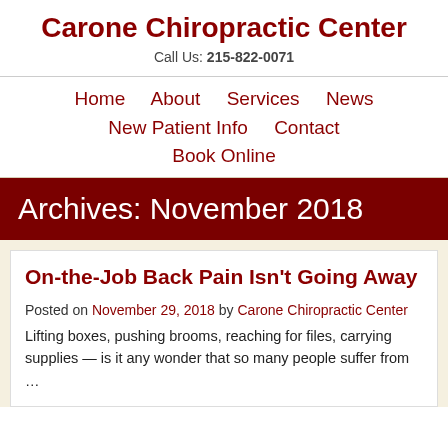Carone Chiropractic Center
Call Us: 215-822-0071
Home   About   Services   News   New Patient Info   Contact   Book Online
Archives: November 2018
On-the-Job Back Pain Isn't Going Away
Posted on November 29, 2018 by Carone Chiropractic Center
Lifting boxes, pushing brooms, reaching for files, carrying supplies — is it any wonder that so many people suffer from …